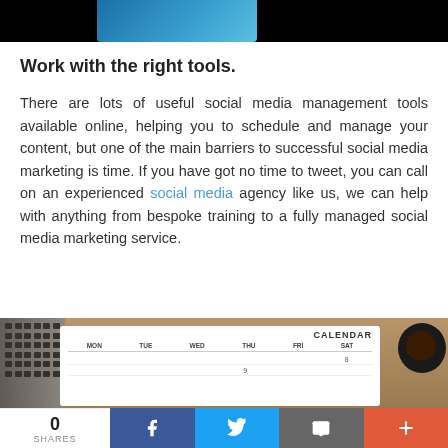[Figure (photo): Partial top banner image — dark/black background with a blue gradient element visible]
Work with the right tools.
There are lots of useful social media management tools available online, helping you to schedule and manage your content, but one of the main barriers to successful social media marketing is time. If you have got no time to tweet, you can call on an experienced social media agency like us, we can help with anything from bespoke training to a fully managed social media marketing service.
[Figure (photo): Photo of a calendar on a clipboard on a wooden desk, with a laptop keyboard visible on the left and a coffee cup on the right]
0
SHARES